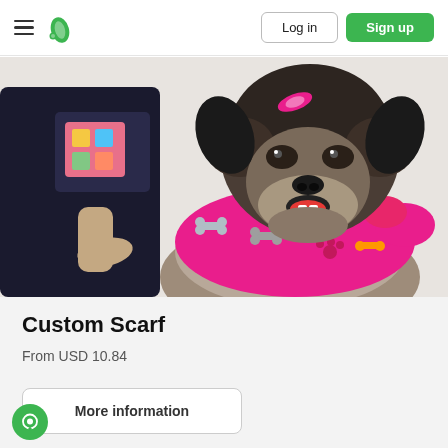Log in | Sign up
[Figure (photo): A dog wearing a bright pink bandana/scarf with bone and paw print patterns, sitting in front of a person wearing dark clothing with a colorful print shirt]
Custom Scarf
From USD 10.84
More information